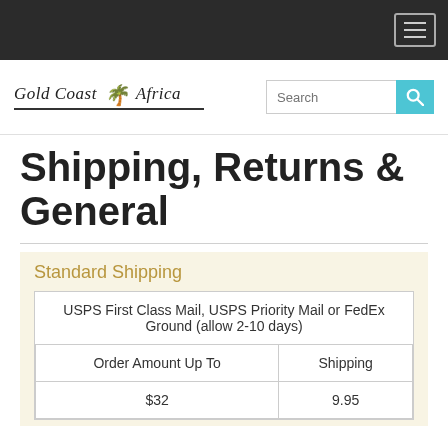Navigation bar with hamburger menu
[Figure (logo): Gold Coast Africa logo with palm trees and italic script text, underlined]
Shipping, Returns & General
Standard Shipping
| USPS First Class Mail, USPS Priority Mail or FedEx Ground (allow 2-10 days) |  |
| --- | --- |
| Order Amount Up To | Shipping |
| $32 | 9.95 |